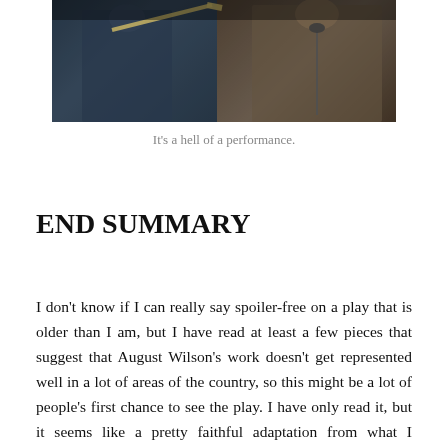[Figure (photo): Two figures on a stage or performance setting, one on the left in darker clothing, one on the right in lighter patterned clothing, photographed from below.]
It's a hell of a performance.
END SUMMARY
I don't know if I can really say spoiler-free on a play that is older than I am, but I have read at least a few pieces that suggest that August Wilson's work doesn't get represented well in a lot of areas of the country, so this might be a lot of people's first chance to see the play. I have only read it, but it seems like a pretty faithful adaptation from what I remember. There were some things that naturally were changed or added, and mostly subtracted, for the adaptation, but it seems overall to have gotten it